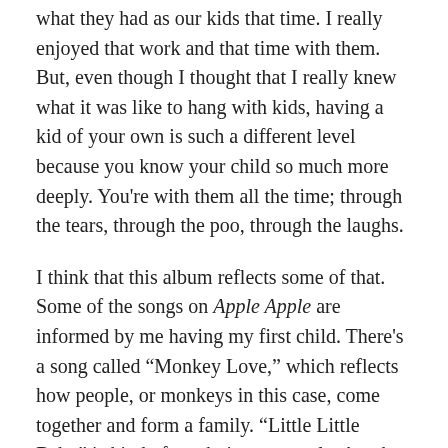what they had as our kids that time. I really enjoyed that work and that time with them. But, even though I thought that I really knew what it was like to hang with kids, having a kid of your own is such a different level because you know your child so much more deeply. You're with them all the time; through the tears, through the poo, through the laughs.
I think that this album reflects some of that. Some of the songs on Apple Apple are informed by me having my first child. There's a song called “Monkey Love,” which reflects how people, or monkeys in this case, come together and form a family. “Little Little Baby” is kind of an obvious example. Another one is “Reflections,” which I wrote while I was helping to get Montana to sleep one day. We were just walking and humming and I realized that being a parent is so intimate. Lots of kisses and hugs. It struck me